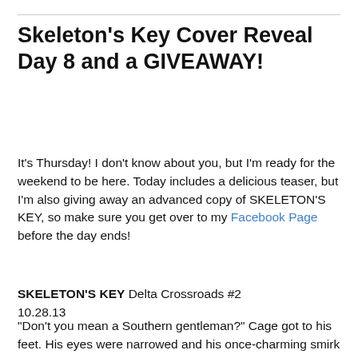Skeleton's Key Cover Reveal Day 8 and a GIVEAWAY!
It's Thursday! I don't know about you, but I'm ready for the weekend to be here. Today includes a delicious teaser, but I'm also giving away an advanced copy of SKELETON'S KEY, so make sure you get over to my Facebook Page before the day ends!
SKELETON'S KEY Delta Crossroads #2
10.28.13
“Don't you mean a Southern gentleman?” Cage got to his feet. His eyes were narrowed and his once-charming smirk cruel. “I bet he fits your ridiculously romanticized version of the South to a tee. Let me guess, he was in his